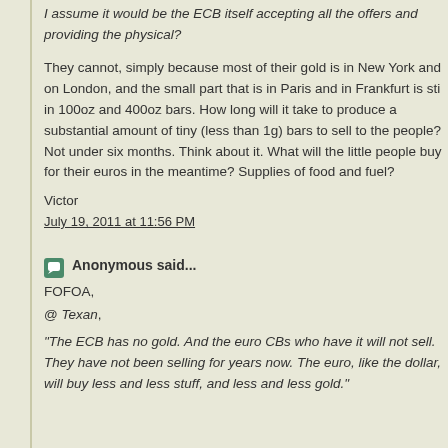I assume it would be the ECB itself accepting all the offers and providing the physical?
They cannot, simply because most of their gold is in New York and on London, and the small part that is in Paris and in Frankfurt is still in 100oz and 400oz bars. How long will it take to produce a substantial amount of tiny (less than 1g) bars to sell to the people? Not under six months. Think about it. What will the little people buy for their euros in the meantime? Supplies of food and fuel?
Victor
July 19, 2011 at 11:56 PM
Anonymous said...
FOFOA,
@ Texan,
"The ECB has no gold. And the euro CBs who have it will not sell. They have not been selling for years now. The euro, like the dollar, will buy less and less stuff, and less and less gold."